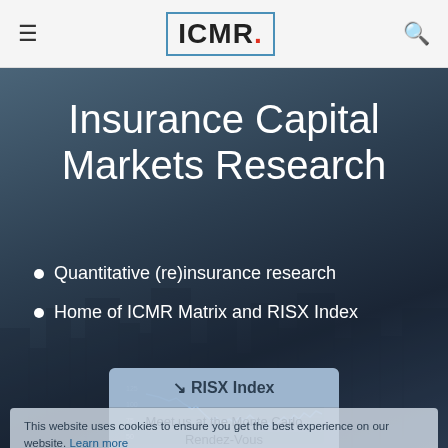ICMR.
Insurance Capital Markets Research
Quantitative (re)insurance research
Home of ICMR Matrix and RISX Index
[Figure (screenshot): RISX Index button card with trending chart icon, showing 'RISX Index' header and text 'Meet us at the Monte Carlo Rendez-Vous 2022 >']
This website uses cookies to ensure you get the best experience on our website. Learn more
Got it!
[Figure (line-chart): Small line chart stub visible at the bottom of the page showing RISX Index historical data with a jagged downward line]